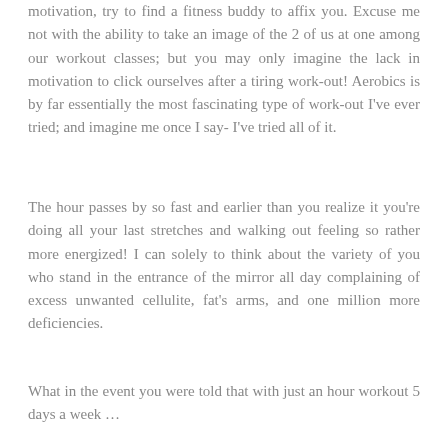motivation, try to find a fitness buddy to affix you. Excuse me not with the ability to take an image of the 2 of us at one among our workout classes; but you may only imagine the lack in motivation to click ourselves after a tiring work-out! Aerobics is by far essentially the most fascinating type of work-out I've ever tried; and imagine me once I say- I've tried all of it.
The hour passes by so fast and earlier than you realize it you're doing all your last stretches and walking out feeling so rather more energized! I can solely to think about the variety of you who stand in the entrance of the mirror all day complaining of excess unwanted cellulite, fat's arms, and one million more deficiencies.
What in the event you were told that with just an hour workout 5 days a week …